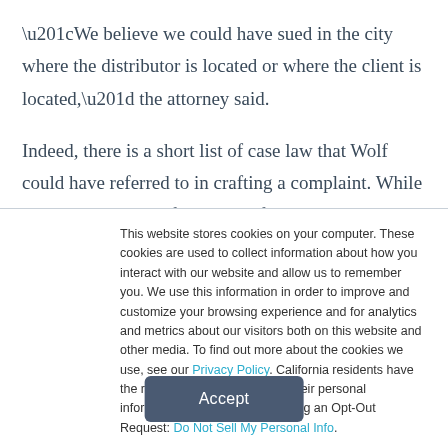“We believe we could have sued in the city where the distributor is located or where the client is located,” the attorney said.
Indeed, there is a short list of case law that Wolf could have referred to in crafting a complaint. While an untold number of Second Life incidents violate its culture and terms of use —
This website stores cookies on your computer. These cookies are used to collect information about how you interact with our website and allow us to remember you. We use this information in order to improve and customize your browsing experience and for analytics and metrics about our visitors both on this website and other media. To find out more about the cookies we use, see our Privacy Policy. California residents have the right to direct us not to sell their personal information to third parties by filing an Opt-Out Request: Do Not Sell My Personal Info.